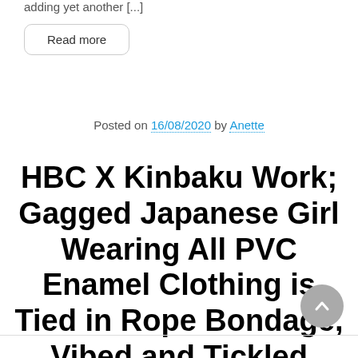adding yet another [...]
Read more
Posted on 16/08/2020 by Anette
HBC X Kinbaku Work; Gagged Japanese Girl Wearing All PVC Enamel Clothing is Tied in Rope Bondage, Vibed and Tickled